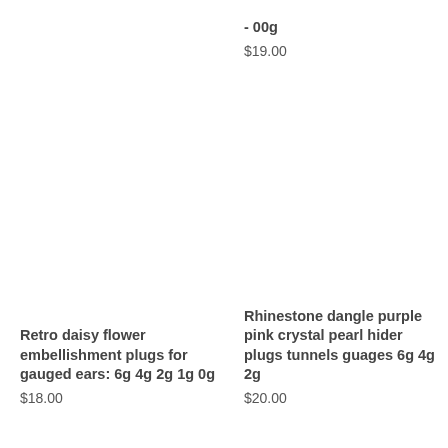- 00g
$19.00
Retro daisy flower embellishment plugs for gauged ears: 6g 4g 2g 1g 0g
$18.00
Rhinestone dangle purple pink crystal pearl hider plugs tunnels guages 6g 4g 2g
$20.00